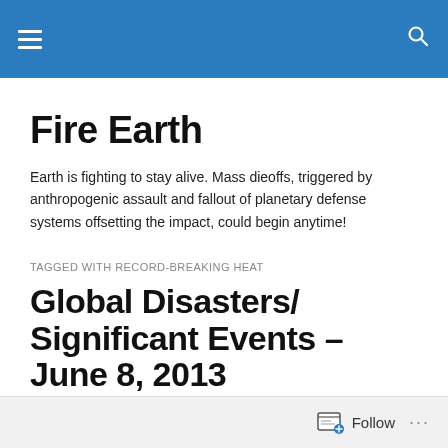Fire Earth
Fire Earth
Earth is fighting to stay alive. Mass dieoffs, triggered by anthropogenic assault and fallout of planetary defense systems offsetting the impact, could begin anytime!
TAGGED WITH RECORD-BREAKING HEAT
Global Disasters/ Significant Events – June 8, 2013
Excessive Heat Warning issued for
Follow